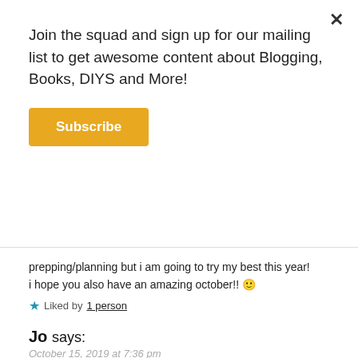Join the squad and sign up for our mailing list to get awesome content about Blogging, Books, DIYS and More!
Subscribe
prepping/planning but i am going to try my best this year!
i hope you also have an amazing october!! 🙂
★ Liked by 1 person
Jo says:
October 15, 2019 at 7:36 pm
WAY DOWN HADESTOWN WAY DOWN UNDER THE GROUND
whups you triggered something ava, now i have to go belt out that part of wait for me. you know. the one.
★ Liked by 1 person